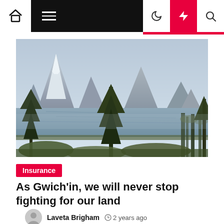Navigation bar with home icon, menu, dark mode, flash, and search icons
[Figure (photo): Scenic landscape photo showing snow-capped mountains reflected in a calm lake, with coniferous trees in the foreground. Arctic or sub-arctic wilderness scenery.]
Insurance
As Gwich'in, we will never stop fighting for our land
Laveta Brigham  2 years ago